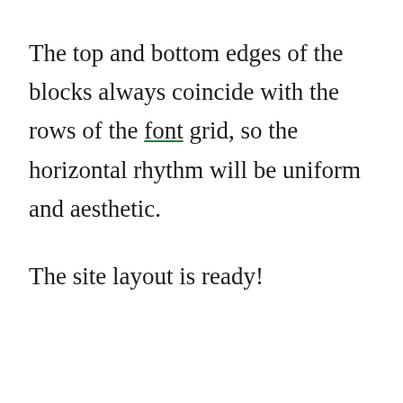The top and bottom edges of the blocks always coincide with the rows of the font grid, so the horizontal rhythm will be uniform and aesthetic.
The site layout is ready!